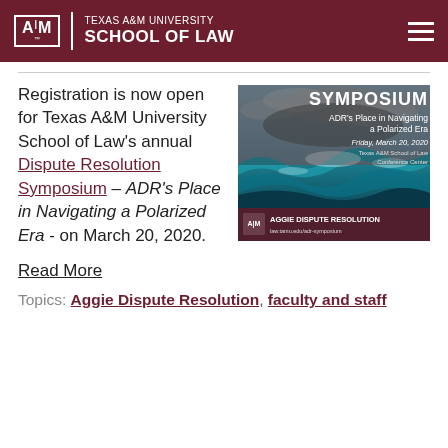TEXAS A&M UNIVERSITY SCHOOL OF LAW
Registration is now open for Texas A&M University School of Law's annual Dispute Resolution Symposium – ADR's Place in Navigating a Polarized Era - on March 20, 2020.
[Figure (illustration): Symposium promotional image showing stormy ocean waves with text: SYMPOSIUM ADR's Place in Navigating a Polarized Era, Friday, March 20, 2020, Texas A&M School of Law Conference Center. Aggie Dispute Resolution logo at bottom left.]
Read More
Topics: Aggie Dispute Resolution, faculty and staff